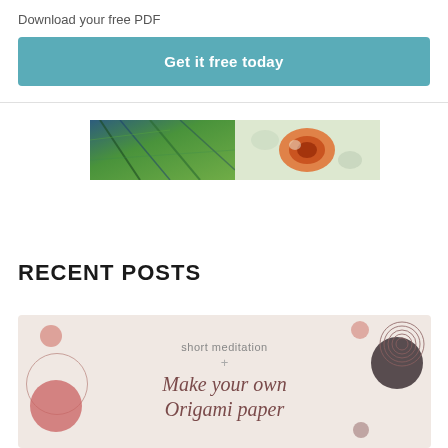Download your free PDF
Get it free today
[Figure (photo): Two side-by-side nature/botanical photos — left shows green plant fibers with blue tones, right shows a colorful orange-and-white fluid or biological specimen.]
RECENT POSTS
[Figure (illustration): Promotional card with light pinkish-beige background, decorative circles in pink, mauve, dark gray, and a spiral circle design. Text reads 'short meditation + Make your own Origami paper'.]
short meditation
+
Make your own Origami paper